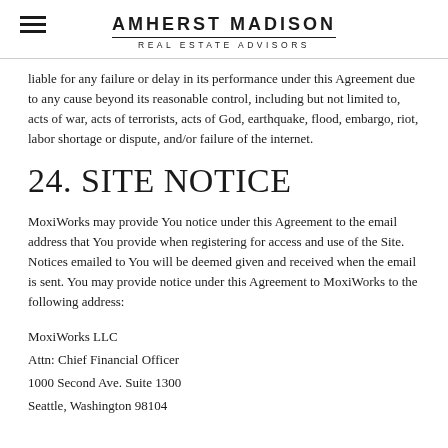AMHERST MADISON
REAL ESTATE ADVISORS
liable for any failure or delay in its performance under this Agreement due to any cause beyond its reasonable control, including but not limited to, acts of war, acts of terrorists, acts of God, earthquake, flood, embargo, riot, labor shortage or dispute, and/or failure of the internet.
24. SITE NOTICE
MoxiWorks may provide You notice under this Agreement to the email address that You provide when registering for access and use of the Site. Notices emailed to You will be deemed given and received when the email is sent. You may provide notice under this Agreement to MoxiWorks to the following address:
MoxiWorks LLC
Attn: Chief Financial Officer
1000 Second Ave. Suite 1300
Seattle, Washington 98104